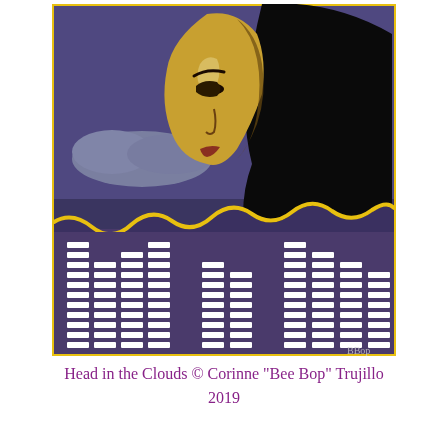[Figure (illustration): Painting titled 'Head in the Clouds' by Corinne 'Bee Bop' Trujillo (2019). Shows a stylized face with yellow skin tones and dark hair against a purple-blue night sky with clouds. The lower portion features a yellow wavy line above a graphic equalizer/audio bars motif rendered in white on a dark purple background. Artist signature 'BBop' visible lower right.]
Head in the Clouds © Corinne "Bee Bop" Trujillo 2019